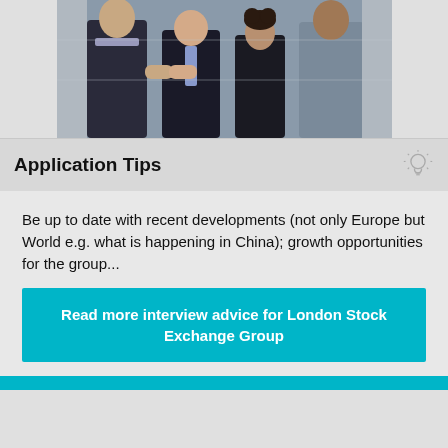[Figure (photo): Four business professionals in formal attire standing and networking/greeting each other outdoors against a stone wall background]
Application Tips
Be up to date with recent developments (not only Europe but World e.g. what is happening in China); growth opportunities for the group...
Read more interview advice for London Stock Exchange Group